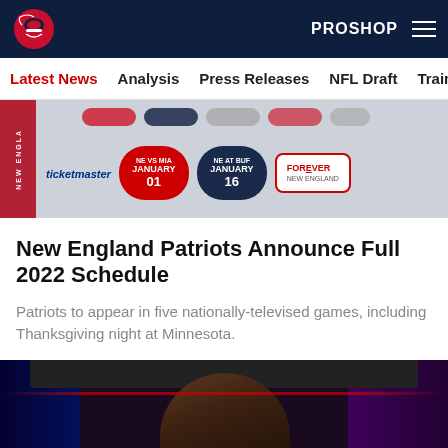PROSHOP
Latest News  Analysis  Press Releases  NFL Draft  Training Cam
[Figure (photo): New England Patriots 2022 schedule graphic showing ticket cards with ticketmaster branding and January game dates]
New England Patriots Announce Full 2022 Schedule
Patriots to appear in five nationally-televised games, including Thanksgiving night at Minnesota.
[Figure (photo): Photo of a person speaking or gesturing, with red and purple background lighting]
Social share icons: Facebook, Twitter, Email, Link